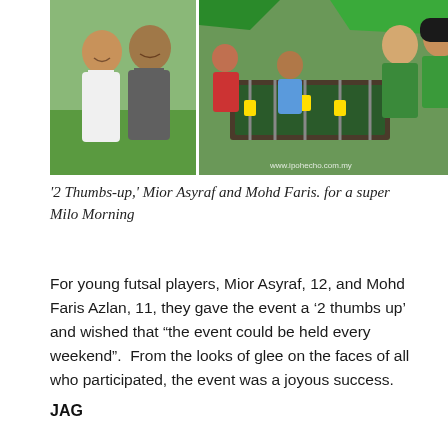[Figure (photo): Composite photo showing two smiling young boys in white t-shirts on the left, and on the right, children and adults in green shirts playing foosball/table football at an outdoor event. A watermark reads www.ipohecho.com.my]
'2 Thumbs-up,' Mior Asyraf and Mohd Faris. for a super Milo Morning
For young futsal players, Mior Asyraf, 12, and Mohd Faris Azlan, 11, they gave the event a ‘2 thumbs up’ and wished that “the event could be held every weekend”. From the looks of glee on the faces of all who participated, the event was a joyous success.
JAG